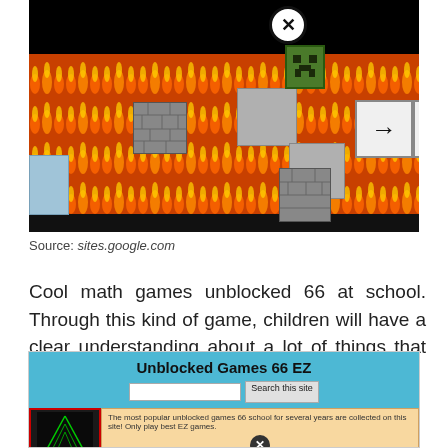[Figure (screenshot): Screenshot of a Minecraft-style platformer game with a Creeper character, gray platform blocks, arrow blocks, stone blocks, lava/fire background, and a close button (X in circle) at top.]
Source: sites.google.com
Cool math games unblocked 66 at school. Through this kind of game, children will have a clear understanding about a lot of things that may happen to the surroundings.
[Figure (screenshot): Screenshot of Unblocked Games 66 EZ website with blue header, search bar, and game listing with a notification popup overlay with X close button.]